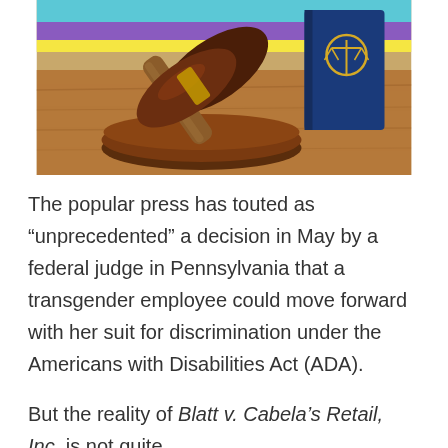[Figure (photo): A judge's wooden gavel resting on a sound block on a wooden surface, with a blue law book visible in the background, colorful striped background behind.]
The popular press has touted as “unprecedented” a decision in May by a federal judge in Pennsylvania that a transgender employee could move forward with her suit for discrimination under the Americans with Disabilities Act (ADA).
But the reality of Blatt v. Cabela’s Retail, Inc. is not quite...